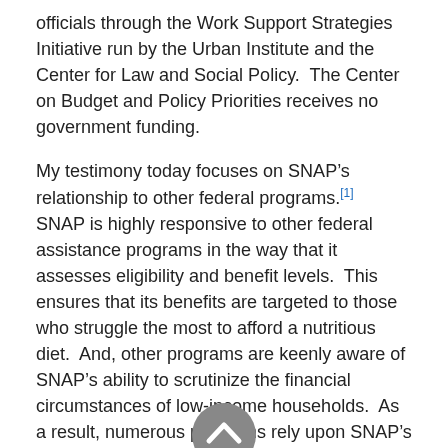officials through the Work Support Strategies Initiative run by the Urban Institute and the Center for Law and Social Policy.  The Center on Budget and Policy Priorities receives no government funding.
My testimony today focuses on SNAP's relationship to other federal programs.[1]  SNAP is highly responsive to other federal assistance programs in the way that it assesses eligibility and benefit levels.  This ensures that its benefits are targeted to those who struggle the most to afford a nutritious diet.  And, other programs are keenly aware of SNAP's ability to scrutinize the financial circumstances of low-income households.  As a result, numerous programs rely upon SNAP's determinations of eligibility and assessment of individual circumstances when setting their own eligibility rules and procedures.  Moreover, SNAP is a significant program with a broad reach and high and proscribed standards for how benefits must be processed.  As a result, SNAP is a highly influential